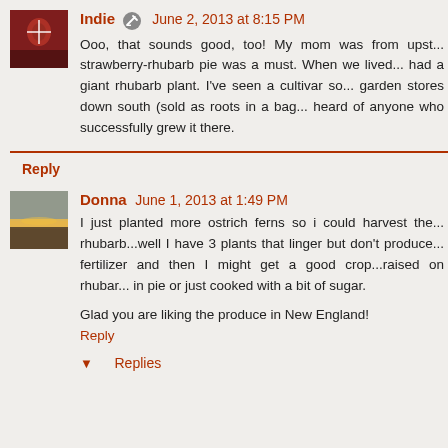[Figure (photo): Avatar image of Indie, red tones with floral element]
Indie  June 2, 2013 at 8:15 PM
Ooo, that sounds good, too! My mom was from upst... strawberry-rhubarb pie was a must. When we lived... had a giant rhubarb plant. I've seen a cultivar so... garden stores down south (sold as roots in a bag... heard of anyone who successfully grew it there.
Reply
[Figure (photo): Avatar image of Donna, landscape/sunset tones]
Donna  June 1, 2013 at 1:49 PM
I just planted more ostrich ferns so i could harvest the... rhubarb...well I have 3 plants that linger but don't produce... fertilizer and then I might get a good crop...raised on rhubar... in pie or just cooked with a bit of sugar.
Glad you are liking the produce in New England!
Reply
Replies